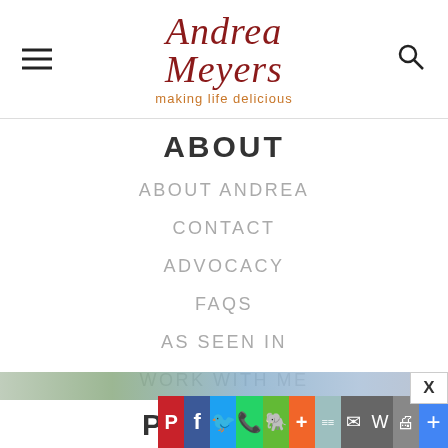Andrea Meyers — making life delicious
ABOUT
ABOUT ANDREA
CONTACT
ADVOCACY
FAQS
AS SEEN IN
WORK WITH ME
POLICIES
[Figure (screenshot): Social sharing toolbar with Pinterest, Facebook, Twitter, WhatsApp, Evernote, AddThis, and other share buttons, plus an advertisement strip above]
[Figure (other): X close button overlay]